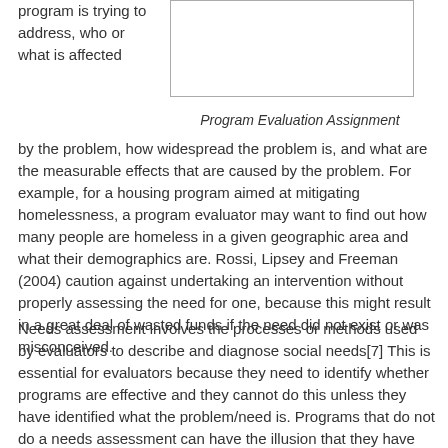program is trying to address, who or what is affected
[Figure (other): Empty bordered rectangle/box on the right side of the page]
Program Evaluation Assignment
by the problem, how widespread the problem is, and what are the measurable effects that are caused by the problem. For example, for a housing program aimed at mitigating homelessness, a program evaluator may want to find out how many people are homeless in a given geographic area and what their demographics are. Rossi, Lipsey and Freeman (2004) caution against undertaking an intervention without properly assessing the need for one, because this might result in a great deal of wasted funds if the need did not exist or was misconceived.
Needs assessment involves the processes or methods used by evaluators to describe and diagnose social needs[7] This is essential for evaluators because they need to identify whether programs are effective and they cannot do this unless they have identified what the problem/need is. Programs that do not do a needs assessment can have the illusion that they have eradicated the problem, when in fact the programs used in the first...